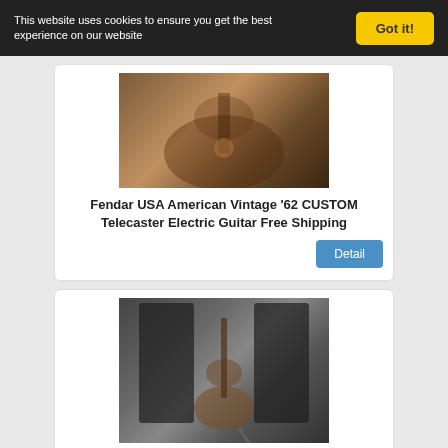This website uses cookies to ensure you get the best experience on our website
Got it!
[Figure (photo): Photo of Fender USA American Vintage '62 guitar body in sunburst finish]
Fendar USA American Vintage '62 CUSTOM Telecaster Electric Guitar Free Shipping
Detail
[Figure (photo): Photo of Fender Blacktop Jazzmaster HS electric guitar on stand with large black speaker cabinets in background]
Fende Blacktop Jazzmaster HS Electric Guitar Used in Studio
Detail
[Figure (photo): Partial photo of a guitar, partially visible at bottom of page]